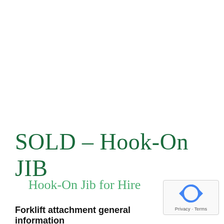SOLD – Hook-On JIB
Hook-On Jib for Hire
Forklift attachment general information
[Figure (logo): reCAPTCHA badge with circular arrow icon and Privacy - Terms text]